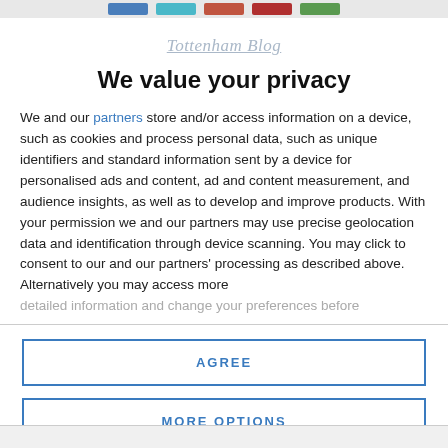[Figure (screenshot): Top navigation bar with colored buttons: blue, cyan, rust, dark red, green]
Tottenham Blog
We value your privacy
We and our partners store and/or access information on a device, such as cookies and process personal data, such as unique identifiers and standard information sent by a device for personalised ads and content, ad and content measurement, and audience insights, as well as to develop and improve products. With your permission we and our partners may use precise geolocation data and identification through device scanning. You may click to consent to our and our partners' processing as described above. Alternatively you may access more detailed information and change your preferences before consenting
AGREE
MORE OPTIONS